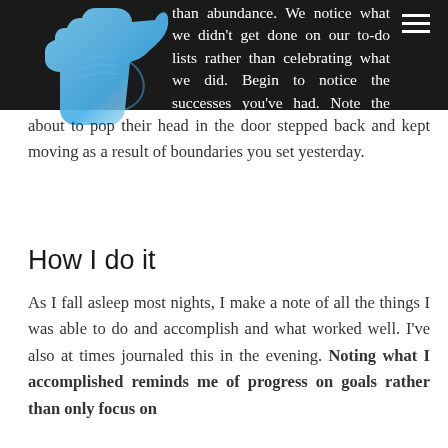[Figure (illustration): Blue stylized bird or hand silhouette on dark background in upper left corner]
than abundance. We notice what we didn't get done on our to-do lists rather than celebrating what we did. Begin to notice the successes you've had. Note the success when staff who was about to pop their head in the door stepped back and kept moving as a result of boundaries you set yesterday.
How I do it
As I fall asleep most nights, I make a note of all the things I was able to do and accomplish and what worked well. I've also at times journaled this in the evening. Noting what I accomplished reminds me of progress on goals rather than only focus on